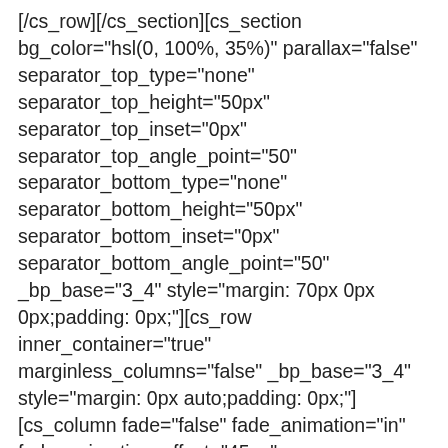[/cs_row][/cs_section][cs_section bg_color="hsl(0, 100%, 35%)" parallax="false" separator_top_type="none" separator_top_height="50px" separator_top_inset="0px" separator_top_angle_point="50" separator_bottom_type="none" separator_bottom_height="50px" separator_bottom_inset="0px" separator_bottom_angle_point="50" _bp_base="3_4" style="margin: 70px 0px 0px;padding: 0px;"][cs_row inner_container="true" marginless_columns="false" _bp_base="3_4" style="margin: 0px auto;padding: 0px;"][cs_column fade="false" fade_animation="in" fade_animation_offset="45px"